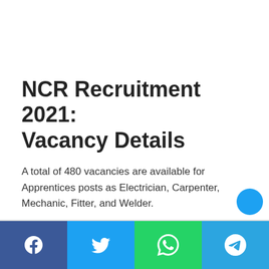NCR Recruitment 2021: Vacancy Details
A total of 480 vacancies are available for Apprentices posts as Electrician, Carpenter, Mechanic, Fitter, and Welder.
Electrician- 88 Posts
Carpenter – 11 Posts
[Figure (infographic): Social media sharing bar with Facebook, Twitter, WhatsApp, and Telegram buttons]